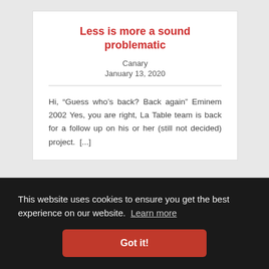Less is more a sound problematic
Canary
January 13, 2020
Hi, “Guess who’s back? Back again” Eminem 2002 Yes, you are right, La Table team is back for a follow up on his or her (still not decided) project.  [...]
This website uses cookies to ensure you get the best experience on our website. Learn more
Got it!